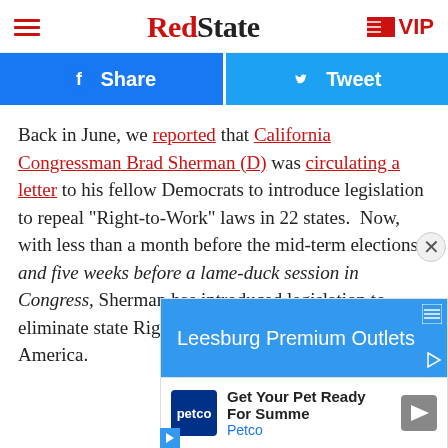RedState | VIP
[Figure (infographic): Facebook Share and Twitter Tweet buttons in blue]
Back in June, we reported that California Congressman Brad Sherman (D) was circulating a letter to his fellow Democrats to introduce legislation to repeal “Right-to-Work” laws in 22 states. Now, with less than a month before the mid-term elections and five weeks before a lame-duck session in Congress, Sherman has introduced legislation to eliminate state Right to Work laws all across America.
[Figure (infographic): Advertisement: Leesburg Premium Outlets ad and Petco Get Your Pet Ready For Summer ad overlaid]